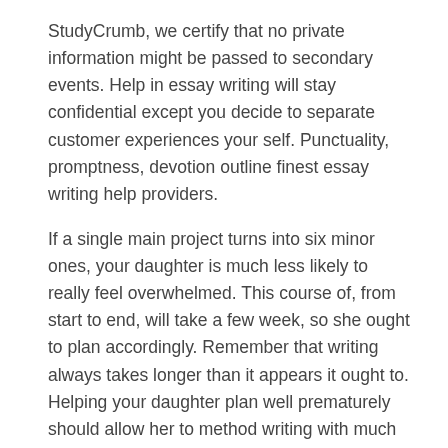StudyCrumb, we certify that no private information might be passed to secondary events. Help in essay writing will stay confidential except you decide to separate customer experiences your self. Punctuality, promptness, devotion outline finest essay writing help providers.
If a single main project turns into six minor ones, your daughter is much less likely to really feel overwhelmed. This course of, from start to end, will take a few week, so she ought to plan accordingly. Remember that writing always takes longer than it appears it ought to. Helping your daughter plan well prematurely should allow her to method writing with much less trepidation and http://asu.edu instead see it as a course of composed of clear, manageable steps.
Professional writers write for a dwelling, in order